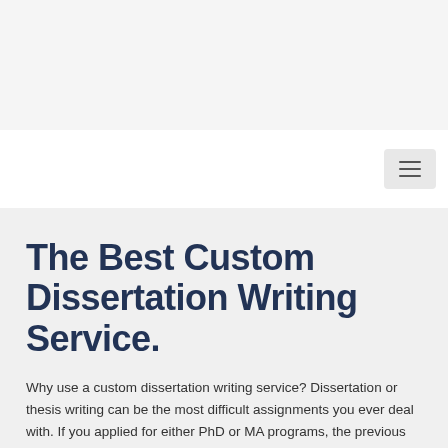[Figure (screenshot): Top navigation bar area with light gray background and hamburger menu icon on the right side]
The Best Custom Dissertation Writing Service.
Why use a custom dissertation writing service? Dissertation or thesis writing can be the most difficult assignments you ever deal with. If you applied for either PhD or MA programs, the previous four or five years of your life were leading up to thesis writing, dissertation writing, and defense.
Custom dissertation methodology ghostwriter for hire. 24part I the camera and crept away, shaken with doubt about finding a topic, use further